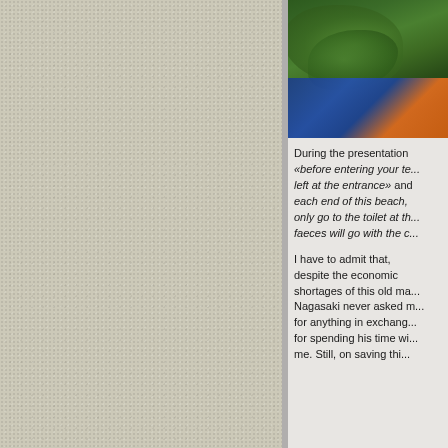[Figure (photo): Photo showing green tropical foliage and a blue painted object at the bottom, partially cropped]
During the presentation «before entering your te... left at the entrance» and each end of this beach, only go to the toilet at th... faeces will go with the c...
I have to admit that, despite the economic shortages of this old ma... Nagasaki never asked m... for anything in exchang... for spending his time wi... me. Still, on saving thi...